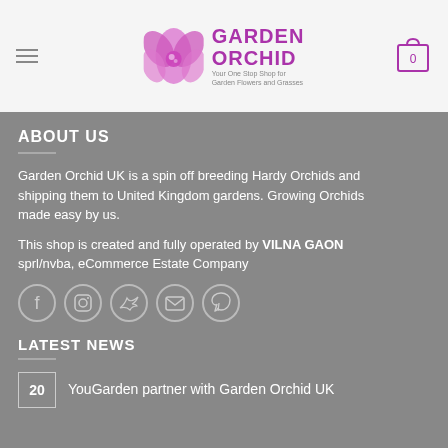Garden Orchid — navigation header with logo and cart
ABOUT US
Garden Orchid UK is a spin off breeding Hardy Orchids and shipping them to United Kingdom gardens. Growing Orchids made easy by us.
This shop is created and fully operated by VILNA GAON sprl/nvba, eCommerce Estate Company
[Figure (infographic): Social media icons: Facebook, Instagram, Twitter, Email, Pinterest]
LATEST NEWS
20 — YouGarden partner with Garden Orchid UK